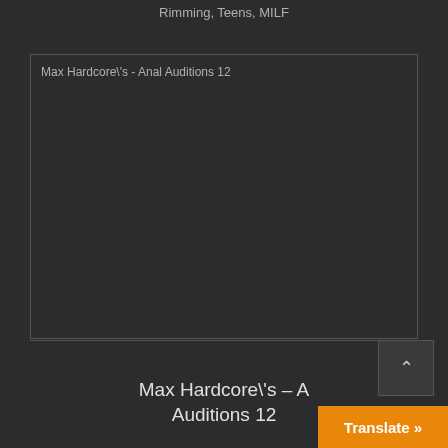Rimming, Teens, MILF
[Figure (photo): Broken/unloaded image placeholder with alt text: Max Hardcore\'s - Anal Auditions 12]
Max Hardcore\'s – Anal Auditions 12
Translate »